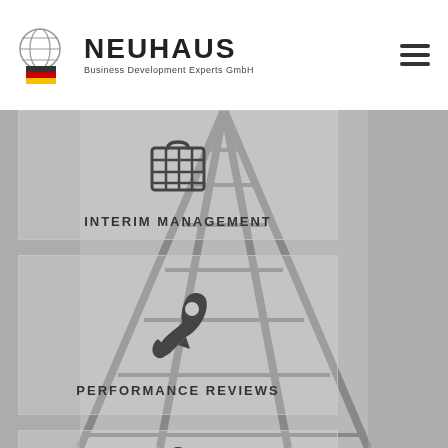NEUHAUS Business Development Experts GmbH
[Figure (infographic): Card with briefcase/calendar grid icon and label INTERIM MANAGEMENT on a railway track background]
[Figure (infographic): Card with rocket icon and label PERFORMANCE REVIEWS on a railway track background]
[Figure (infographic): Card with microphone icon on a railway track background (partially visible)]